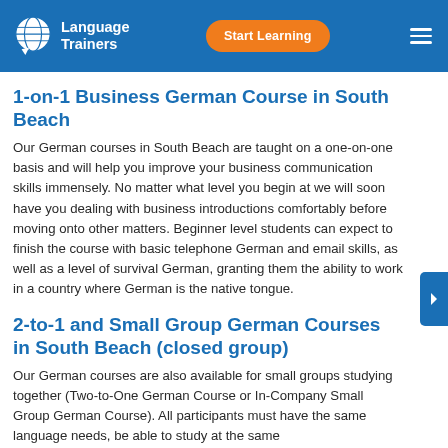Language Trainers | Start Learning
1-on-1 Business German Course in South Beach
Our German courses in South Beach are taught on a one-on-one basis and will help you improve your business communication skills immensely. No matter what level you begin at we will soon have you dealing with business introductions comfortably before moving onto other matters. Beginner level students can expect to finish the course with basic telephone German and email skills, as well as a level of survival German, granting them the ability to work in a country where German is the native tongue.
2-to-1 and Small Group German Courses in South Beach (closed group)
Our German courses are also available for small groups studying together (Two-to-One German Course or In-Company Small Group German Course). All participants must have the same language needs, be able to study at the same